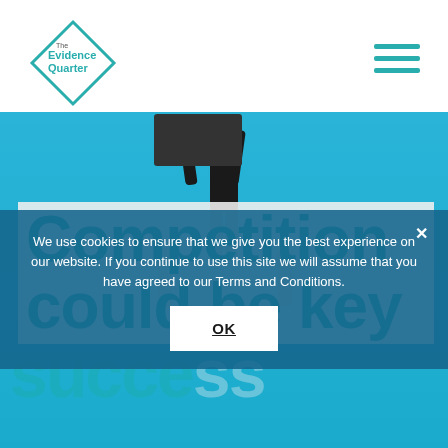[Figure (logo): The Evidence Quarter diamond-shaped logo with teal text]
[Figure (illustration): Hamburger menu icon with three teal horizontal lines]
[Figure (photo): Hero image with blue sky background and dark silhouette figure holding a sign]
Competition could be key
success
We use cookies to ensure that we give you the best experience on our website. If you continue to use this site we will assume that you have agreed to our Terms and Conditions.
OK